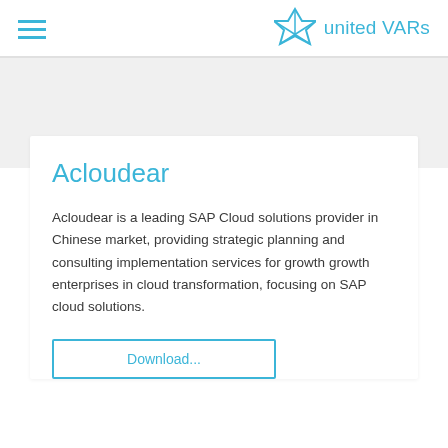united VARs
Acloudear
Acloudear is a leading SAP Cloud solutions provider in Chinese market, providing strategic planning and consulting implementation services for growth growth enterprises in cloud transformation, focusing on SAP cloud solutions.
Download...